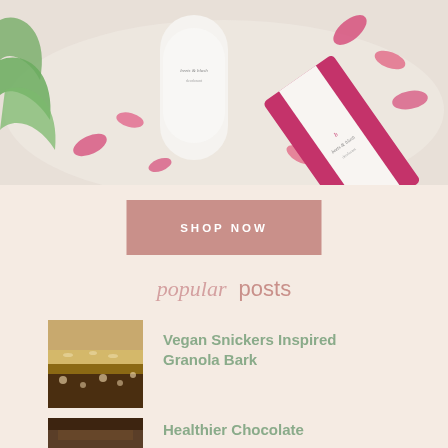[Figure (photo): Flatlay photo of beets & blush deodorant products — a white stick deodorant and a pink/magenta packaged deodorant — on a white textured surface with pink flower petals scattered around, with green plant leaves visible on the left.]
SHOP NOW
popular posts
[Figure (photo): Close-up photo of Vegan Snickers Inspired Granola Bark — layered bar with chocolate and granola pieces.]
Vegan Snickers Inspired Granola Bark
[Figure (photo): Close-up photo of Healthier Chocolate item — dark chocolate dessert.]
Healthier Chocolate